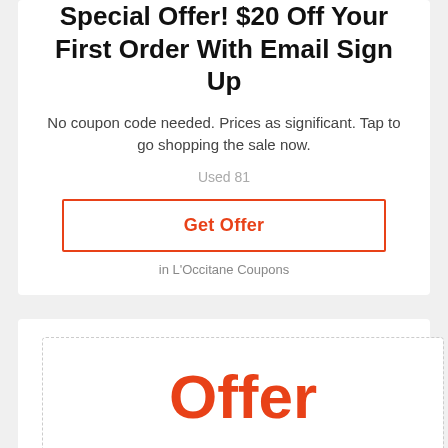Special Offer! $20 Off Your First Order With Email Sign Up
No coupon code needed. Prices as significant. Tap to go shopping the sale now.
Used 81
Get Offer
in L'Occitane Coupons
[Figure (other): Orange 'Offer' label in a dashed-border box with 'Sale' below in a gray bar]
Cade Energizing Face Fluid For $16.50